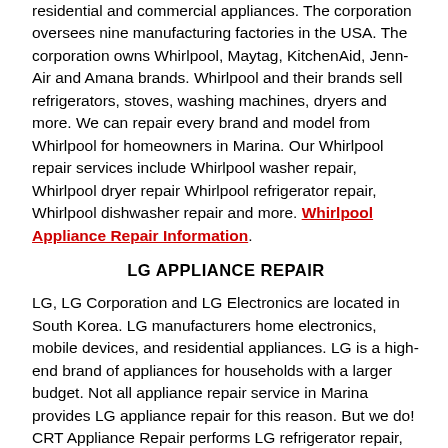residential and commercial appliances. The corporation oversees nine manufacturing factories in the USA. The corporation owns Whirlpool, Maytag, KitchenAid, Jenn-Air and Amana brands. Whirlpool and their brands sell refrigerators, stoves, washing machines, dryers and more. We can repair every brand and model from Whirlpool for homeowners in Marina. Our Whirlpool repair services include Whirlpool washer repair, Whirlpool dryer repair Whirlpool refrigerator repair, Whirlpool dishwasher repair and more. Whirlpool Appliance Repair Information.
LG APPLIANCE REPAIR
LG, LG Corporation and LG Electronics are located in South Korea. LG manufacturers home electronics, mobile devices, and residential appliances. LG is a high-end brand of appliances for households with a larger budget. Not all appliance repair service in Marina provides LG appliance repair for this reason. But we do! CRT Appliance Repair performs LG refrigerator repair, LG washer repair, LG